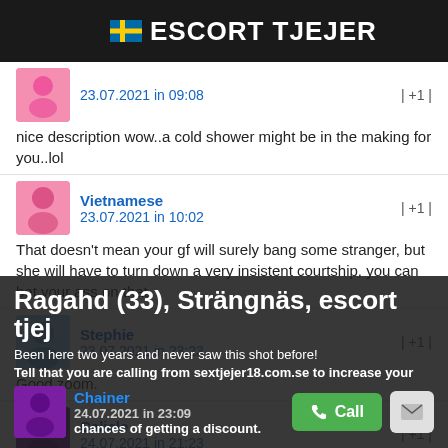ESCORT TJEJER
23.07.2021 in 09:08   | +1 |
nice description wow..a cold shower might be in the making for you..lol
Vietnamese
23.07.2021 in 10:02   | +1 |
That doesn't mean your gf will surely bang some stranger, but she will have to turn down a very insistent courtship, you can bet your ass on that.
Stephie
23.07.2021 in 23:23   | +1 |
Good zoom.
Calicle
24.07.2021 in 21:23   | +1 |
Been here two years and never saw this shot before!
Ragahd (33), Strängnäs, escort tjej
Tell that you are calling from sextjejer18.com.se to increase your chances of getting a discount.
Chainer
24.07.2021 in 23:09
Wow again!